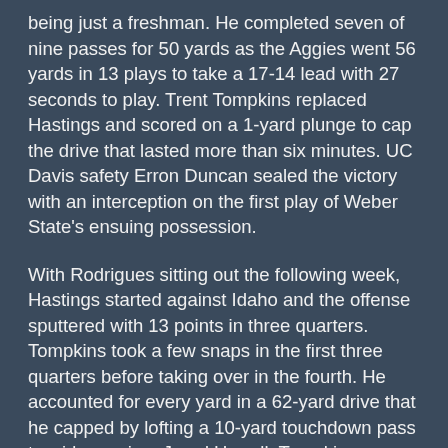being just a freshman. He completed seven of nine passes for 50 yards as the Aggies went 56 yards in 13 plays to take a 17-14 lead with 27 seconds to play. Trent Tompkins replaced Hastings and scored on a 1-yard plunge to cap the drive that lasted more than six minutes. UC Davis safety Erron Duncan sealed the victory with an interception on the first play of Weber State's ensuing possession.
With Rodrigues sitting out the following week, Hastings started against Idaho and the offense sputtered with 13 points in three quarters. Tompkins took a few snaps in the first three quarters before taking over in the fourth. He accounted for every yard in a 62-yard drive that he capped by lofting a 10-yard touchdown pass to wide receiver Jared Harrell. Tompkins completed all three of his passes for 34 yards and added two runs for 28.